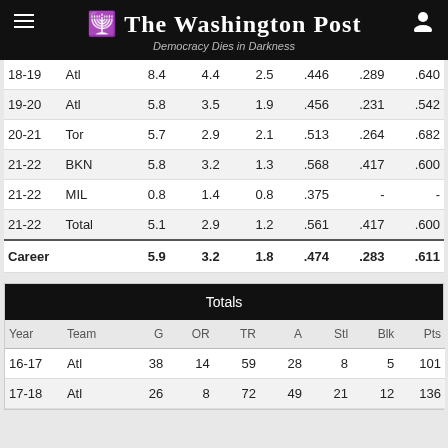The Washington Post — Democracy Dies in Darkness
| Year | Team | OR | TR | A | FG% | 3P% | FT% |
| --- | --- | --- | --- | --- | --- | --- | --- |
| 18-19 | Atl | 8.4 | 4.4 | 2.5 | .446 | .289 | .640 |
| 19-20 | Atl | 5.8 | 3.5 | 1.9 | .456 | .231 | .542 |
| 20-21 | Tor | 5.7 | 2.9 | 2.1 | .513 | .264 | .682 |
| 21-22 | BKN | 5.8 | 3.2 | 1.3 | .568 | .417 | .600 |
| 21-22 | MIL | 0.8 | 1.4 | 0.8 | .375 | - | - |
| 21-22 | Total | 5.1 | 2.9 | 1.2 | .561 | .417 | .600 |
| Career |  | 5.9 | 3.2 | 1.8 | .474 | .283 | .611 |
Totals
| Year | Team | G | OR | TR | A | Stl | Blk | Pts |
| --- | --- | --- | --- | --- | --- | --- | --- | --- |
| 16-17 | Atl | 38 | 14 | 59 | 28 | 8 | 5 | 101 |
| 17-18 | Atl | 26 | 8 | 72 | 49 | 21 | 12 | 136 |